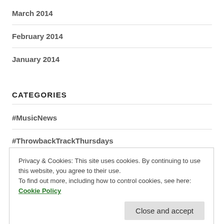March 2014
February 2014
January 2014
CATEGORIES
#MusicNews
#ThrowbackTrackThursdays
#WatchThis
Privacy & Cookies: This site uses cookies. By continuing to use this website, you agree to their use.
To find out more, including how to control cookies, see here: Cookie Policy
Close and accept